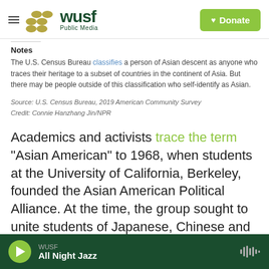WUSF Public Media | Donate
Notes
The U.S. Census Bureau classifies a person of Asian descent as anyone who traces their heritage to a subset of countries in the continent of Asia. But there may be people outside of this classification who self-identify as Asian.
Source: U.S. Census Bureau, 2019 American Community Survey
Credit: Connie Hanzhang Jin/NPR
Academics and activists trace the term "Asian American" to 1968, when students at the University of California, Berkeley, founded the Asian American Political Alliance. At the time, the group sought to unite students of Japanese, Chinese and Filipino
WUSF | All Night Jazz